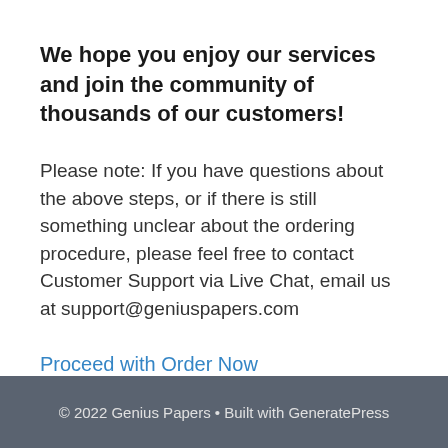We hope you enjoy our services and join the community of thousands of our customers!
Please note: If you have questions about the above steps, or if there is still something unclear about the ordering procedure, please feel free to contact Customer Support via Live Chat, email us at support@geniuspapers.com
Proceed with Order Now
© 2022 Genius Papers • Built with GeneratePress